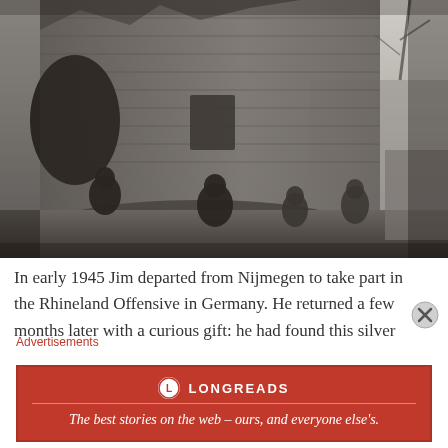[Figure (photo): Black and white World War II photograph showing soldiers advancing past a heavily damaged brick building in ruins. Several soldiers with weapons are visible, crouching and moving through rubble. The building has collapsed sections and holes in the walls.]
In early 1945 Jim departed from Nijmegen to take part in the Rhineland Offensive in Germany. He returned a few months later with a curious gift: he had found this silver
Advertisements
[Figure (logo): Longreads advertisement banner. Red background with Longreads logo (circle with L) and tagline: The best stories on the web – ours, and everyone else's.]